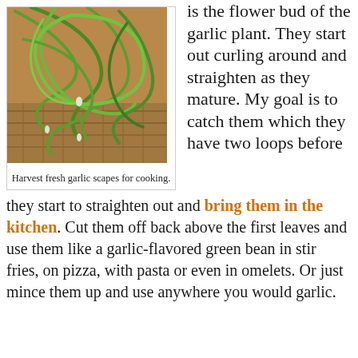[Figure (photo): Photo of fresh garlic scapes bundled in a basket, showing long curling green stems.]
Harvest fresh garlic scapes for cooking.
is the flower bud of the garlic plant. They start out curling around and straighten as they mature. My goal is to catch them which they have two loops before they start to straighten out and bring them in the kitchen. Cut them off back above the first leaves and use them like a garlic-flavored green bean in stir fries, on pizza, with pasta or even in omelets. Or just mince them up and use anywhere you would garlic.